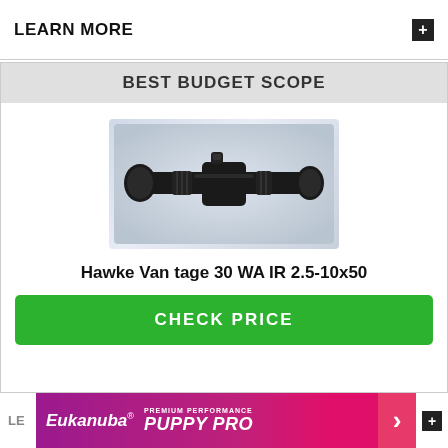LEARN MORE
BEST BUDGET SCOPE
[Figure (photo): Hawke Vantage 30 WA IR 2.5-10x50 rifle scope, black, shown horizontally against a light grey/white gradient background]
Hawke Vantage 30 WA IR 2.5-10x50
CHECK PRICE
[Figure (advertisement): Eukanuba Premium Performance PUPPY PRO advertisement banner with pink/purple gradient background and white arrow]